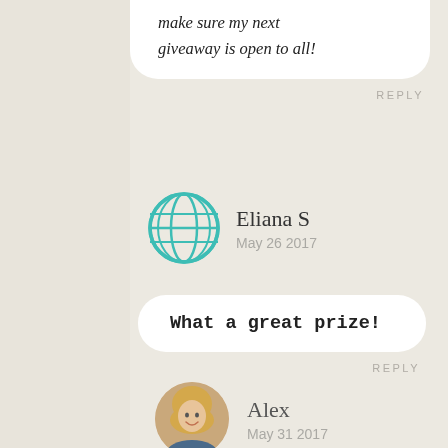make sure my next giveaway is open to all!
REPLY
[Figure (illustration): Teal globe/world icon used as avatar for Eliana S]
Eliana S
May 26 2017
What a great prize!
REPLY
[Figure (photo): Circular photo avatar of a smiling blonde woman (Alex)]
Alex
May 31 2017
Good luck Eliana!
REPLY